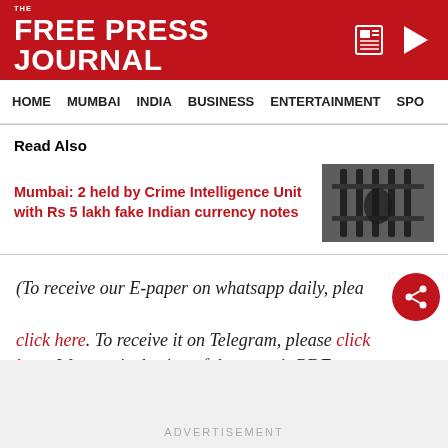THE FREE PRESS JOURNAL
HOME   MUMBAI   INDIA   BUSINESS   ENTERTAINMENT   SPO
Read Also
Mumbai: 2 held by Crime Intelligence Unit with Rs 5 lakh fake Indian currency notes
[Figure (photo): Thumbnail image showing jail bars scene in dark/grayscale tone]
(To receive our E-paper on whatsapp daily, please click here. To receive it on Telegram, please click here. We permit sharing of the paper’s PDF on WhatsApp and other social media platforms.)
ADVERTISEMENT